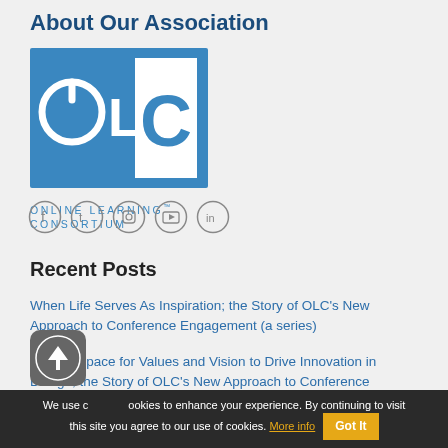About Our Association
[Figure (logo): OLC Online Learning Consortium logo — blue square with power symbol O, L, C letters in white, and text ONLINE LEARNING CONSORTIUM below]
[Figure (other): Social media icons: Facebook, Twitter, Instagram, YouTube, LinkedIn — circular grey outlined icons]
Recent Posts
When Life Serves As Inspiration; the Story of OLC’s New Approach to Conference Engagement (a series)
Making Space for Values and Vision to Drive Innovation in Design; the Story of OLC’s New Approach to Conference Engagement (a series)
We use cookies to enhance your experience. By continuing to visit this site you agree to our use of cookies. More info | Got It